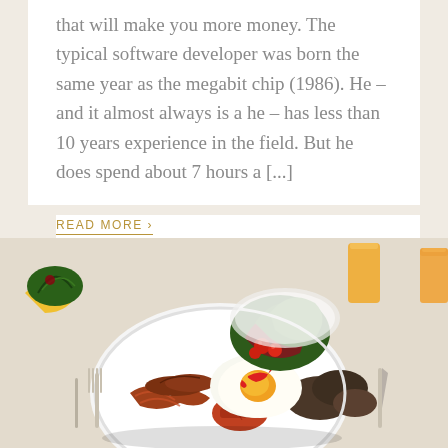that will make you more money. The typical software developer was born the same year as the megabit chip (1986). He – and it almost always is a he – has less than 10 years experience in the field. But he does spend about 7 hours a [...]
READ MORE ›
[Figure (photo): A full English breakfast plate with fried eggs topped with red chili slices, bacon, sausages, grilled tomatoes, mushrooms, and a side salad of lettuce and cherry tomatoes. Glasses of orange juice are visible in the background on a white tablecloth.]